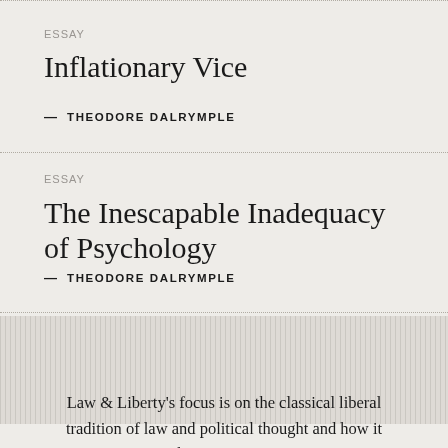ESSAY
Inflationary Vice
— THEODORE DALRYMPLE
ESSAY
The Inescapable Inadequacy of Psychology
— THEODORE DALRYMPLE
Law & Liberty's focus is on the classical liberal tradition of law and political thought and how it shapes a society